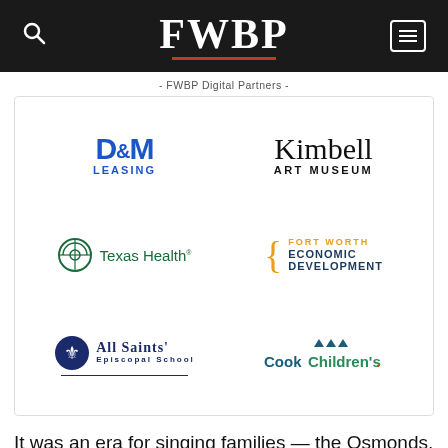FWBP
- FWBP Digital Partners -
[Figure (logo): Six sponsor logos in a 2x3 grid: D&M Leasing, Kimbell Art Museum, Texas Health, Fort Worth Economic Development, All Saints' Episcopal School, Cook Children's]
It was an era for singing families — the Osmonds, the Jacksons. “The Partridge Family” never cracked the top 10 in TV ratings, but the recordings under their name, mostly featuring Cassidy, Jones and session